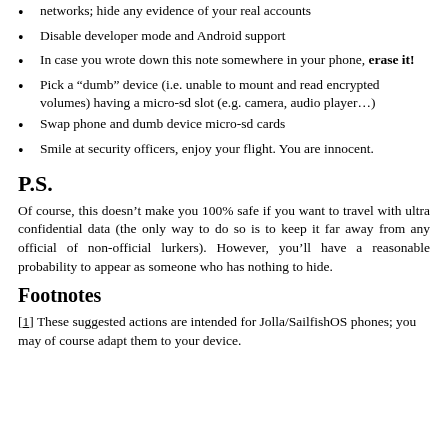networks; hide any evidence of your real accounts
Disable developer mode and Android support
In case you wrote down this note somewhere in your phone, erase it!
Pick a “dumb” device (i.e. unable to mount and read encrypted volumes) having a micro-sd slot (e.g. camera, audio player…)
Swap phone and dumb device micro-sd cards
Smile at security officers, enjoy your flight. You are innocent.
P.S.
Of course, this doesn’t make you 100% safe if you want to travel with ultra confidential data (the only way to do so is to keep it far away from any official of non-official lurkers). However, you’ll have a reasonable probability to appear as someone who has nothing to hide.
Footnotes
[1] These suggested actions are intended for Jolla/SailfishOS phones; you may of course adapt them to your device.